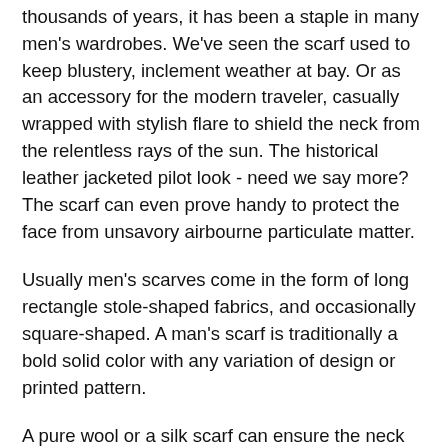thousands of years, it has been a staple in many men's wardrobes. We've seen the scarf used to keep blustery, inclement weather at bay. Or as an accessory for the modern traveler, casually wrapped with stylish flare to shield the neck from the relentless rays of the sun. The historical leather jacketed pilot look - need we say more?  The scarf can even prove handy to protect the face from unsavory airbourne particulate matter.
Usually men's scarves come in the form of long rectangle stole-shaped fabrics, and occasionally square-shaped. A man's scarf is traditionally a bold solid color with any variation of design or printed pattern.
A pure wool or a silk scarf can ensure the neck stays warm on those cold days while a light weight cotton or a linen scarf can be the perfect statement of style in the days of